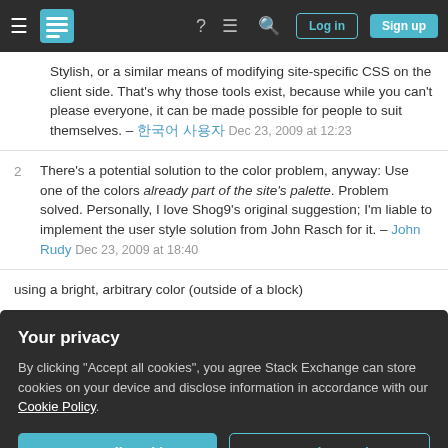Stack Exchange navigation bar with Log in and Sign up buttons
Stylish, or a similar means of modifying site-specific CSS on the client side. That's why those tools exist, because while you can't please everyone, it can be made possible for people to suit themselves. – [username] Dec 23, 2009 at 12:23
2 There's a potential solution to the color problem, anyway: Use one of the colors already part of the site's palette. Problem solved. Personally, I love Shog9's original suggestion; I'm liable to implement the user style solution from John Rasch for it. – John Rudy Dec 23, 2009 at 18:40
using a bright, arbitrary color (outside of a block)
Your privacy — By clicking "Accept all cookies", you agree Stack Exchange can store cookies on your device and disclose information in accordance with our Cookie Policy.
code font, until that was changed at the behest of the